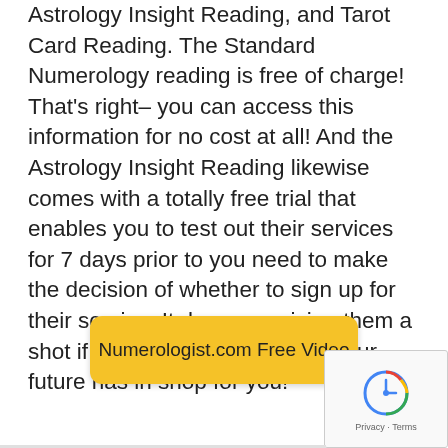Astrology Insight Reading, and Tarot Card Reading. The Standard Numerology reading is free of charge! That's right– you can access this information for no cost at all! And the Astrology Insight Reading likewise comes with a totally free trial that enables you to test out their services for 7 days prior to you need to make the decision of whether to sign up for their service. It deserves giving them a shot if you wonder about what your future has in shop for you!
[Figure (other): Yellow CTA button labeled 'Numerologist.com Free Video']
[Figure (other): Google reCAPTCHA badge with Privacy - Terms text]